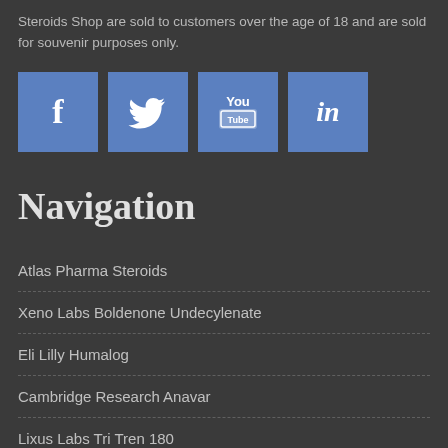Steroids Shop are sold to customers over the age of 18 and are sold for souvenir purposes only.
[Figure (infographic): Four social media icons: Facebook (f), Twitter (bird), YouTube (You/Tube), LinkedIn (in) — all on blue square backgrounds]
Navigation
Atlas Pharma Steroids
Xeno Labs Boldenone Undecylenate
Eli Lilly Humalog
Cambridge Research Anavar
Lixus Labs Tri Tren 180
Nova Labs Steroids